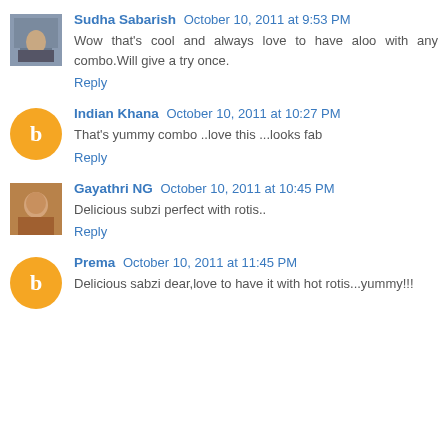Sudha Sabarish  October 10, 2011 at 9:53 PM
Wow that's cool and always love to have aloo with any combo.Will give a try once.
Reply
Indian Khana  October 10, 2011 at 10:27 PM
That's yummy combo ..love this ...looks fab
Reply
Gayathri NG  October 10, 2011 at 10:45 PM
Delicious subzi perfect with rotis..
Reply
Prema  October 10, 2011 at 11:45 PM
Delicious sabzi dear,love to have it with hot rotis...yummy!!!